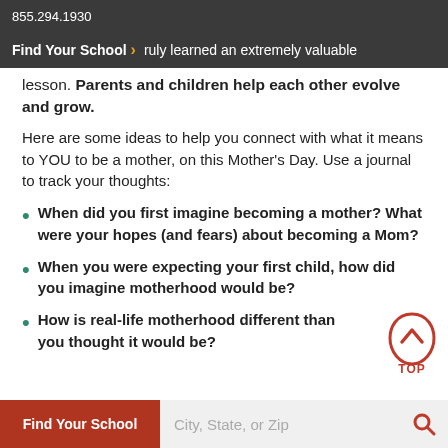855.294.1930
Find Your School >
ruly learned an extremely valuable lesson. Parents and children help each other evolve and grow.
Here are some ideas to help you connect with what it means to YOU to be a mother, on this Mother's Day. Use a journal to track your thoughts:
When did you first imagine becoming a mother? What were your hopes (and fears) about becoming a Mom?
When you were expecting your first child, how did you imagine motherhood would be?
How is real-life motherhood different than you thought it would be?
Find Your School   City, State, or Zip